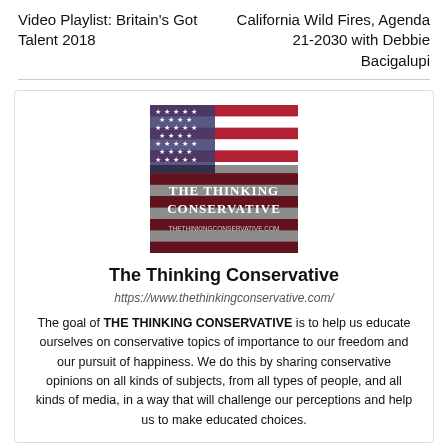Video Playlist: Britain's Got Talent 2018
California Wild Fires, Agenda 21-2030 with Debbie Bacigalupi
[Figure (logo): The Thinking Conservative logo with American flag background and bold white text reading 'The Thinking Conservative' with website URL]
The Thinking Conservative
https://www.thethinkingconservative.com/
The goal of THE THINKING CONSERVATIVE is to help us educate ourselves on conservative topics of importance to our freedom and our pursuit of happiness. We do this by sharing conservative opinions on all kinds of subjects, from all types of people, and all kinds of media, in a way that will challenge our perceptions and help us to make educated choices.